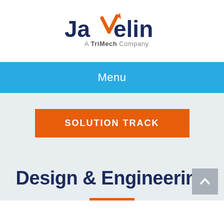[Figure (logo): Javelin logo - dark blue text with orange checkmark/javelin swoosh, subtitle 'A TriMech Company' in grey]
Menu
SOLUTION TRACK
Design & Engineering